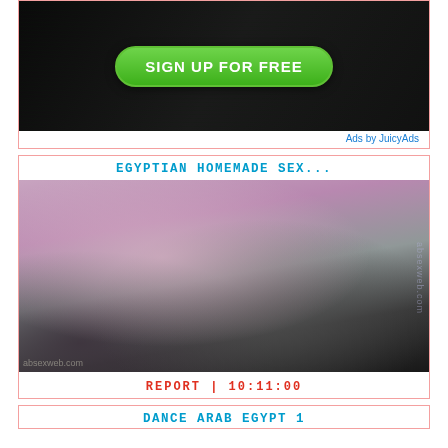[Figure (screenshot): Advertisement banner showing a laptop with a green 'SIGN UP FOR FREE' button]
Ads by JuicyAds
EGYPTIAN HOMEMADE SEX...
[Figure (screenshot): Video thumbnail showing two people dancing in a room with a black sofa, watermark text visible]
REPORT | 10:11:00
DANCE ARAB EGYPT 1